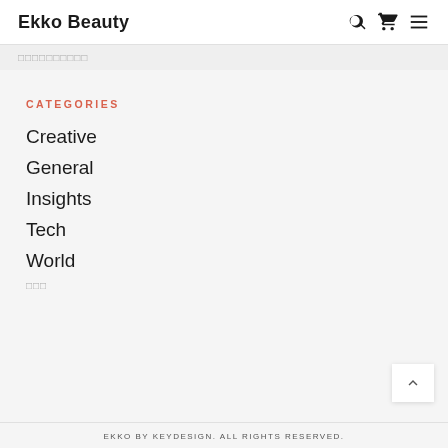Ekko Beauty
□□□□□□□□□□
CATEGORIES
Creative
General
Insights
Tech
World
□□□
EKKO BY KEYDESIGN. ALL RIGHTS RESERVED.